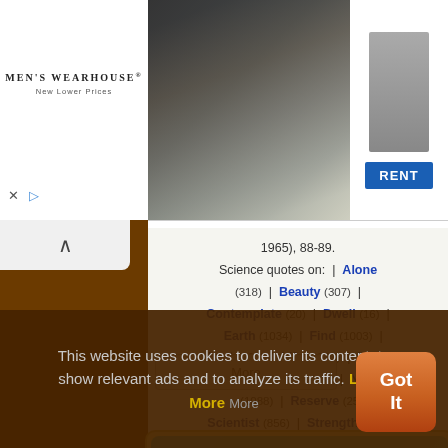[Figure (screenshot): Men's Wearhouse advertisement banner with logo, couple in formal wear, man in suit, and RENT button]
1965), 88-89. Science quotes on: | Alone (318) | Beauty (307) | Contemplate (20) | Dwell (16) | Earth (1034) | Find (1003) | Last (425) | Life (1830) | Long (772) | Mystery (185) | Never (1088) | Reserve (25) | Scientist (856) | Strength (130) | Weary (11) | Will (2352)
[Figure (screenshot): Emergency save lives card with teal gradient background]
This website uses cookies to deliver its content, to show relevant ads and to analyze its traffic. Learn More
[Figure (screenshot): Got It button - orange rounded rectangle]